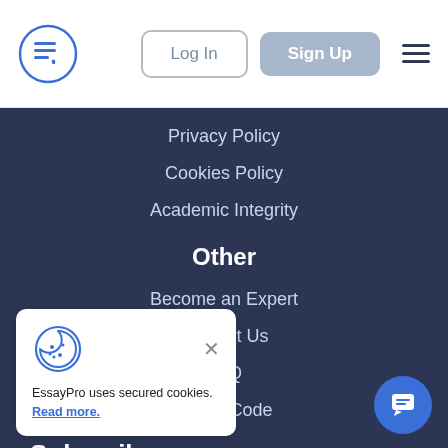[Figure (logo): EssayPro logo — document icon inside a blue circle]
Log In | Sign Up
Privacy Policy
Cookies Policy
Academic Integrity
Other
Become an Expert
Contact Us
FAQ
Honor Code
Subscribe
EssayPro uses secured cookies. Read more.